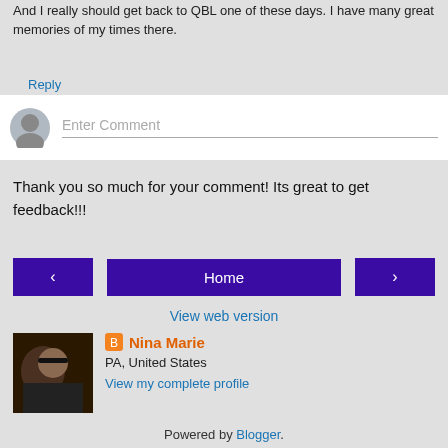And I really should get back to QBL one of these days. I have many great memories of my times there.
Reply
[Figure (screenshot): Comment entry box with avatar placeholder and 'Enter Comment' prompt]
Thank you so much for your comment! Its great to get feedback!!!
[Figure (screenshot): Navigation buttons: left arrow, Home, right arrow]
View web version
[Figure (photo): Profile photo of Nina Marie, a woman with glasses]
Nina Marie
PA, United States
View my complete profile
Powered by Blogger.